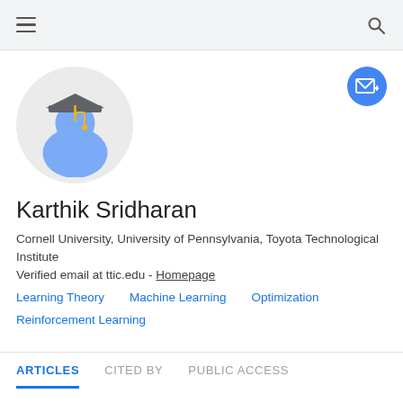[Figure (screenshot): Google Scholar profile page for Karthik Sridharan showing navigation bar with hamburger menu and search icon]
[Figure (illustration): Google Scholar default avatar: blue person silhouette with gray graduation cap and gold tassel, inside a light gray circle]
[Figure (illustration): Blue circular follow/email button with white envelope and plus icon, top right of profile]
Karthik Sridharan
Cornell University, University of Pennsylvania, Toyota Technological Institute
Verified email at ttic.edu - Homepage
Learning Theory
Machine Learning
Optimization
Reinforcement Learning
ARTICLES   CITED BY   PUBLIC ACCESS
SORT ▾   CITED BY